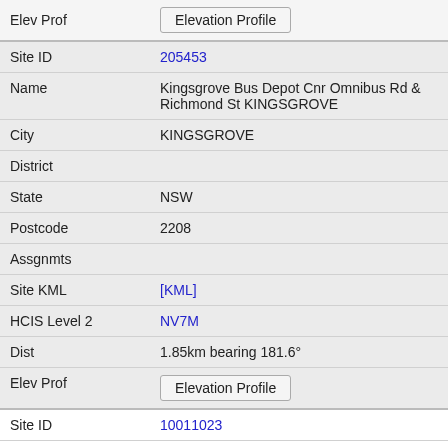| Field | Value |
| --- | --- |
| Elev Prof | Elevation Profile |
| Site ID | 205453 |
| Name | Kingsgrove Bus Depot Cnr Omnibus Rd & Richmond St KINGSGROVE |
| City | KINGSGROVE |
| District |  |
| State | NSW |
| Postcode | 2208 |
| Assgnmts |  |
| Site KML | [KML] |
| HCIS Level 2 | NV7M |
| Dist | 1.85km bearing 181.6° |
| Elev Prof | Elevation Profile |
| Site ID | 10011023 |
| Name | St Basil's Aged Care 130 Croydon Street LAKEMBA |
| City | LAKEMBA |